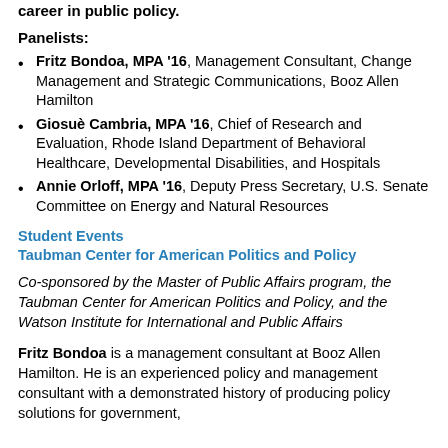career in public policy.
Panelists:
Fritz Bondoa, MPA '16, Management Consultant, Change Management and Strategic Communications, Booz Allen Hamilton
Giosuè Cambria, MPA '16, Chief of Research and Evaluation, Rhode Island Department of Behavioral Healthcare, Developmental Disabilities, and Hospitals
Annie Orloff, MPA '16, Deputy Press Secretary, U.S. Senate Committee on Energy and Natural Resources
Student Events
Taubman Center for American Politics and Policy
Co-sponsored by the Master of Public Affairs program, the Taubman Center for American Politics and Policy, and the Watson Institute for International and Public Affairs
Fritz Bondoa is a management consultant at Booz Allen Hamilton. He is an experienced policy and management consultant with a demonstrated history of producing policy solutions for government,